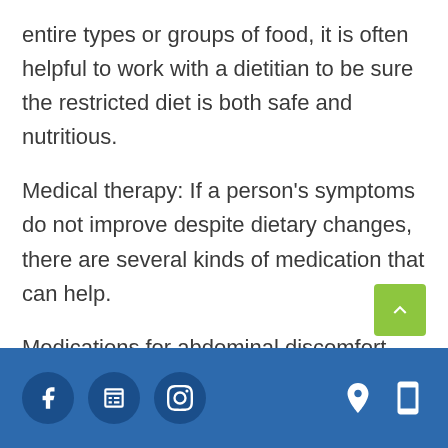entire types or groups of food, it is often helpful to work with a dietitian to be sure the restricted diet is both safe and nutritious.
Medical therapy: If a person's symptoms do not improve despite dietary changes, there are several kinds of medication that can help.
Medications for abdominal discomfort.
Social media icons (Facebook, Google, Instagram) on left; location and mobile icons on right